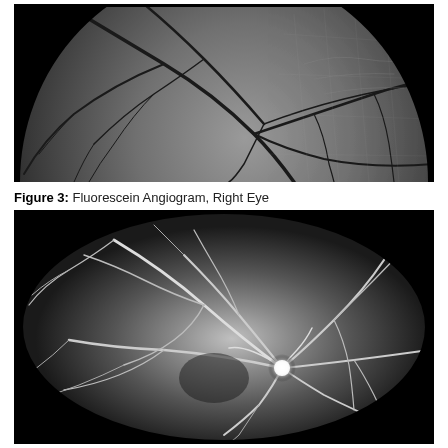[Figure (photo): Fluorescein angiogram of the right eye showing retinal blood vessels as dark branching lines against a gray background. The image is cropped to show the upper portion of the fundus with a dark circular border visible at the top.]
Figure 3:  Fluorescein Angiogram, Right Eye
[Figure (photo): Fluorescein angiogram showing a full circular fundus view with bright white retinal blood vessels branching from the optic disc (brightly illuminated area slightly right of center). A small red marker is visible in the lower right of the image. The surrounding area is black outside the circular fundus boundary.]